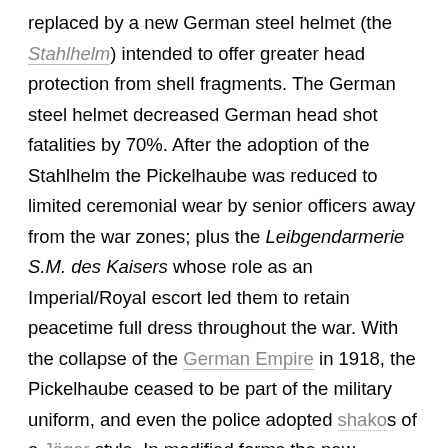replaced by a new German steel helmet (the Stahlhelm) intended to offer greater head protection from shell fragments. The German steel helmet decreased German head shot fatalities by 70%. After the adoption of the Stahlhelm the Pickelhaube was reduced to limited ceremonial wear by senior officers away from the war zones; plus the Leibgendarmerie S.M. des Kaisers whose role as an Imperial/Royal escort led them to retain peacetime full dress throughout the war. With the collapse of the German Empire in 1918, the Pickelhaube ceased to be part of the military uniform, and even the police adopted shakos of a Jäger style. In modified forms the new Stahlhelm helmet would continue to be worn by German troops into World War II.